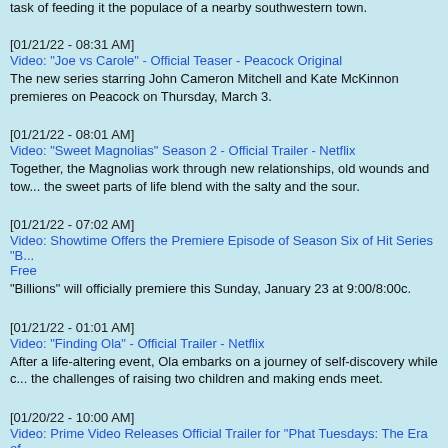task of feeding it the populace of a nearby southwestern town.
[01/21/22 - 08:31 AM]
Video: "Joe vs Carole" - Official Teaser - Peacock Original
The new series starring John Cameron Mitchell and Kate McKinnon premieres on Peacock on Thursday, March 3.
[01/21/22 - 08:01 AM]
Video: "Sweet Magnolias" Season 2 - Official Trailer - Netflix
Together, the Magnolias work through new relationships, old wounds and town secrets as the sweet parts of life blend with the salty and the sour.
[01/21/22 - 07:02 AM]
Video: Showtime Offers the Premiere Episode of Season Six of Hit Series "B... Free
"Billions" will officially premiere this Sunday, January 23 at 9:00/8:00c.
[01/21/22 - 01:01 AM]
Video: "Finding Ola" - Official Trailer - Netflix
After a life-altering event, Ola embarks on a journey of self-discovery while confronting the challenges of raising two children and making ends meet.
[01/20/22 - 10:00 AM]
Video: Prime Video Releases Official Trailer for "Phat Tuesdays: The Era of Hip Hop Comedy"
All three episodes of the Amazon Original series will premiere exclusively on Prime Video on Friday, February 4 in more than 240 countries and territories worldwide.